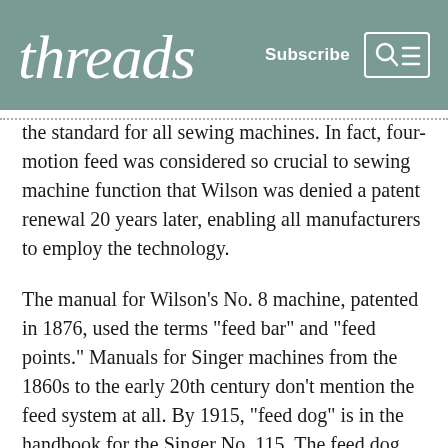threads  Subscribe
the standard for all sewing machines. In fact, four-motion feed was considered so crucial to sewing machine function that Wilson was denied a patent renewal 20 years later, enabling all manufacturers to employ the technology.
The manual for Wilson’s No. 8 machine, patented in 1876, used the terms “feed bar” and “feed points.” Manuals for Singer machines from the 1860s to the early 20th century don’t mention the feed system at all. By 1915, “feed dog” is in the handbook for the Singer No. 115. The feed dog, thus, is older than its name.